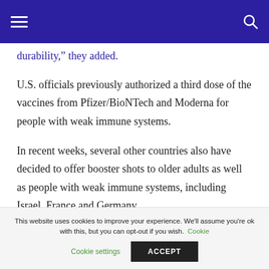Navigation bar with hamburger menu and search icon
durability,” they added.
U.S. officials previously authorized a third dose of the vaccines from Pfizer/BioNTech and Moderna for people with weak immune systems.
In recent weeks, several other countries also have decided to offer booster shots to older adults as well as people with weak immune systems, including Israel, France and Germany.
This website uses cookies to improve your experience. We'll assume you're ok with this, but you can opt-out if you wish. Cookie settings ACCEPT